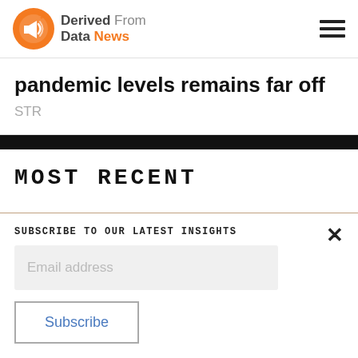Derived From Data News
pandemic levels remains far off
STR
MOST RECENT
SUBSCRIBE TO OUR LATEST INSIGHTS
Email address
Subscribe